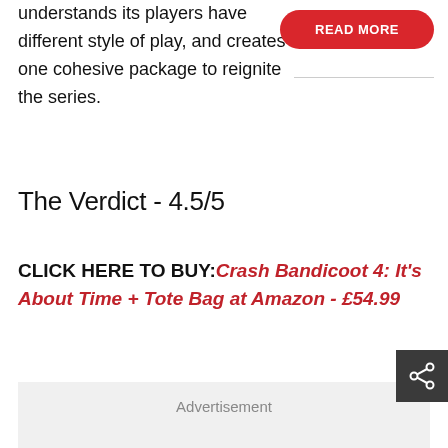understands its players have different style of play, and creates one cohesive package to reignite the series.
[Figure (other): Red rounded rectangle button with white bold text READ MORE]
The Verdict - 4.5/5
CLICK HERE TO BUY: Crash Bandicoot 4: It's About Time + Tote Bag at Amazon - £54.99
[Figure (other): Dark grey share icon button]
Advertisement